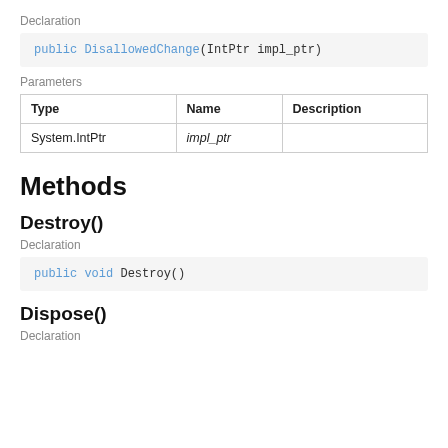Declaration
public DisallowedChange(IntPtr impl_ptr)
Parameters
| Type | Name | Description |
| --- | --- | --- |
| System.IntPtr | impl_ptr |  |
Methods
Destroy()
Declaration
public void Destroy()
Dispose()
Declaration